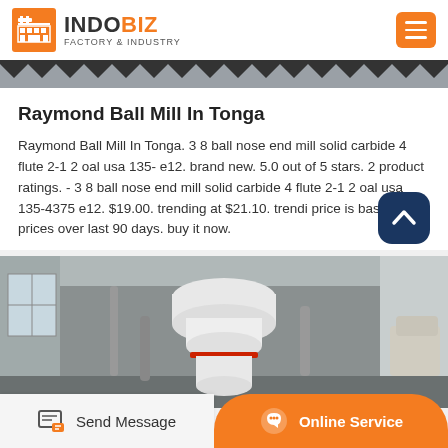INDOBIZ FACTORY & INDUSTRY
Raymond Ball Mill In Tonga
Raymond Ball Mill In Tonga. 3 8 ball nose end mill solid carbide 4 flute 2-1 2 oal usa 135- e12. brand new. 5.0 out of 5 stars. 2 product ratings. - 3 8 ball nose end mill solid carbide 4 flute 2-1 2 oal usa 135-4375 e12. $19.00. trending at $21.10. trending price is based on prices over last 90 days. buy it now.
[Figure (photo): Industrial Raymond ball mill machine inside a factory, white cylindrical grinding machine with pipes and equipment visible in the background]
Send Message | Online Service